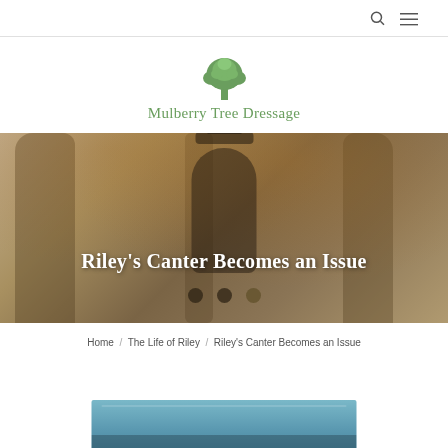Mulberry Tree Dressage — navigation bar with search and menu icons
[Figure (logo): Green tree logo icon above the text 'Mulberry Tree Dressage' in green serif font]
[Figure (photo): Hero background photo of a person in a dark hat and coat standing among large autumn trees with golden leaves. Three dark circular dots overlay at bottom center.]
Riley's Canter Becomes an Issue
Home / The Life of Riley / Riley's Canter Becomes an Issue
[Figure (photo): Partial view of a blue building or stable structure at the bottom of the page]